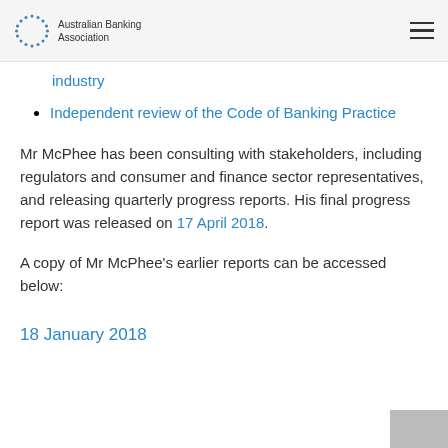Australian Banking Association
Independent review of the Code of Banking Practice
Mr McPhee has been consulting with stakeholders, including regulators and consumer and finance sector representatives, and releasing quarterly progress reports. His final progress report was released on 17 April 2018.
A copy of Mr McPhee's earlier reports can be accessed below:
18 January 2018